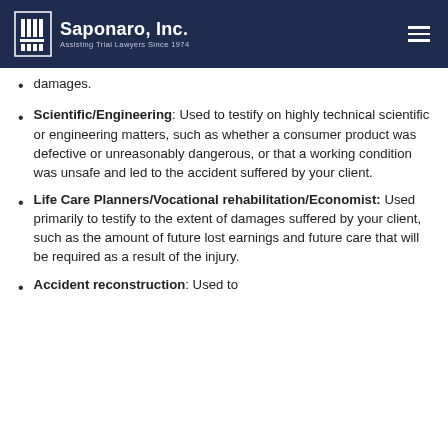Saponaro, Inc. — Assisting Trial Lawyers Since 1974
damages.
Scientific/Engineering: Used to testify on highly technical scientific or engineering matters, such as whether a consumer product was defective or unreasonably dangerous, or that a working condition was unsafe and led to the accident suffered by your client.
Life Care Planners/Vocational rehabilitation/Economist: Used primarily to testify to the extent of damages suffered by your client, such as the amount of future lost earnings and future care that will be required as a result of the injury.
Accident reconstruction: Used to